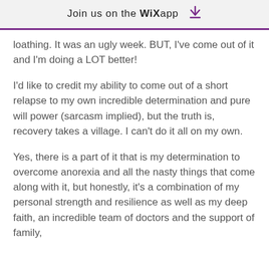Join us on the WiX app ⬇
loathing. It was an ugly week. BUT, I've come out of it and I'm doing a LOT better!
I'd like to credit my ability to come out of a short relapse to my own incredible determination and pure will power (sarcasm implied), but the truth is, recovery takes a village. I can't do it all on my own.
Yes, there is a part of it that is my determination to overcome anorexia and all the nasty things that come along with it, but honestly, it's a combination of my personal strength and resilience as well as my deep faith, an incredible team of doctors and the support of family,